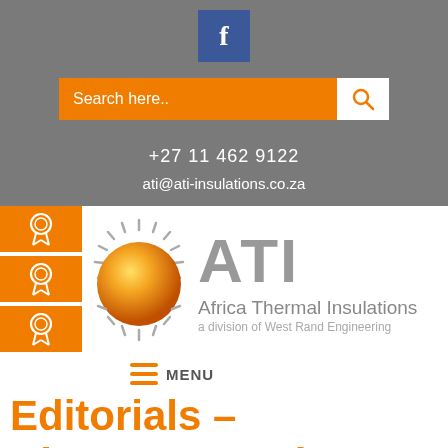[Figure (logo): Facebook icon button (blue square with white f)]
[Figure (screenshot): Orange search bar with text 'Search here..' and a white search button with magnifier icon]
+27 11 462 9122
ati@ati-insulations.co.za
[Figure (logo): ATI Africa Thermal Insulations logo with sun graphic and orange sidebar with award icons]
MENU
Editorials – Clearspan Projects
April 8, 2019